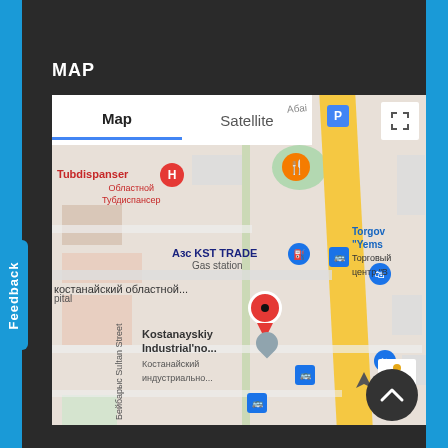MAP
[Figure (map): Google Maps view showing Kostanayskiy Industrial area in Kostanay, Kazakhstan. The map shows streets, a large yellow diagonal road, various POI markers including Tubdispanser (hospital), Azs KST TRADE gas station, Kostanayskiy Industrial'no... location with a red pin marker, bus stops, parking, and nearby businesses. Map/Satellite toggle tabs are visible at top. A Feedback tab is on the left edge.]